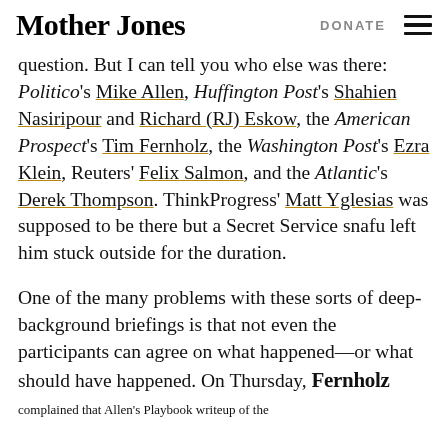Mother Jones | DONATE
question. But I can tell you who else was there: Politico's Mike Allen, Huffington Post's Shahien Nasiripour and Richard (RJ) Eskow, the American Prospect's Tim Fernholz, the Washington Post's Ezra Klein, Reuters' Felix Salmon, and the Atlantic's Derek Thompson. ThinkProgress' Matt Yglesias was supposed to be there but a Secret Service snafu left him stuck outside for the duration.
One of the many problems with these sorts of deep-background briefings is that not even the participants can agree on what happened—or what should have happened. On Thursday, Fernholz complained that Allen's Playbook writeup of the